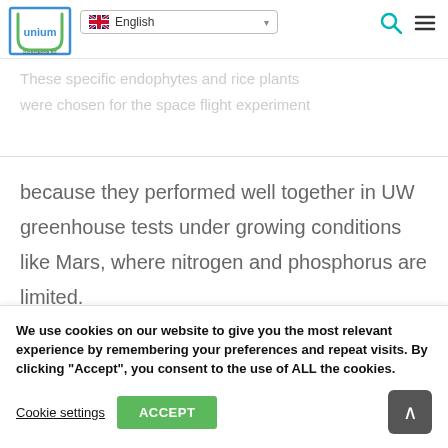Unium Bioscience Ltd — navigation bar with English language selector, search icon, menu icon
at provide nutrients to their plant partners.
These specific endophytes and rice plants were chosen for the space flight experiment because they performed well together in UW greenhouse tests under growing conditions like Mars, where nitrogen and phosphorus are limited.
We use cookies on our website to give you the most relevant experience by remembering your preferences and repeat visits. By clicking "Accept", you consent to the use of ALL the cookies.
Cookie settings
ACCEPT